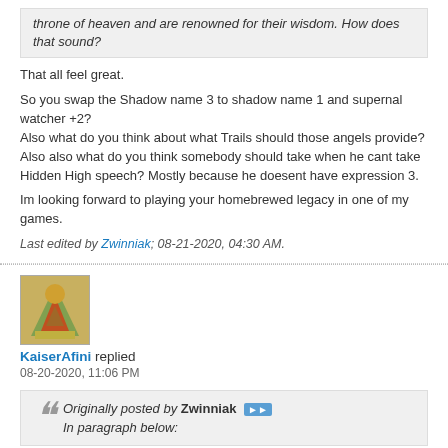throne of heaven and are renowned for their wisdom. How does that sound?
That all feel great.
So you swap the Shadow name 3 to shadow name 1 and supernal watcher +2?
Also what do you think about what Trails should those angels provide?
Also also what do you think somebody should take when he cant take Hidden High speech? Mostly because he doesent have expression 3.
Im looking forward to playing your homebrewed legacy in one of my games.
Last edited by Zwinniak; 08-21-2020, 04:30 AM.
KaiserAfini replied
08-20-2020, 11:06 PM
Originally posted by Zwinniak
In paragraph below: